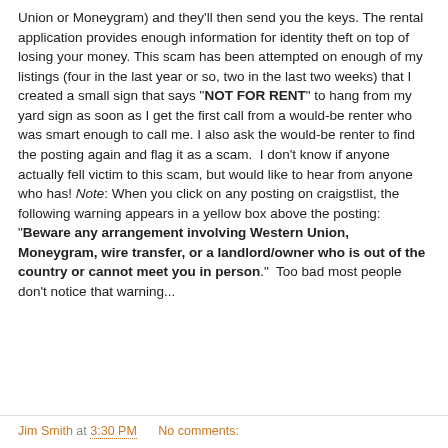Union or Moneygram) and they'll then send you the keys. The rental application provides enough information for identity theft on top of losing your money. This scam has been attempted on enough of my listings (four in the last year or so, two in the last two weeks) that I created a small sign that says "NOT FOR RENT" to hang from my yard sign as soon as I get the first call from a would-be renter who was smart enough to call me. I also ask the would-be renter to find the posting again and flag it as a scam.  I don't know if anyone actually fell victim to this scam, but would like to hear from anyone who has! Note: When you click on any posting on craigstlist, the following warning appears in a yellow box above the posting: "Beware any arrangement involving Western Union, Moneygram, wire transfer, or a landlord/owner who is out of the country or cannot meet you in person."  Too bad most people don't notice that warning...
Jim Smith at 3:30 PM   No comments: